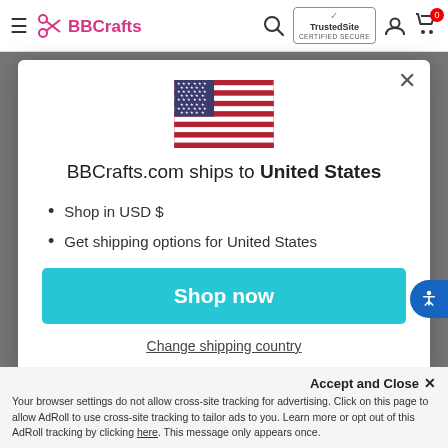BBCrafts — navigation bar with hamburger, logo, search, TrustedSite badge, account, cart (0)
[Figure (screenshot): US flag SVG inline inside modal]
BBCrafts.com ships to United States
Shop in USD $
Get shipping options for United States
Shop now
Change shipping country
Accept and Close ✕ — Your browser settings do not allow cross-site tracking for advertising. Click on this page to allow AdRoll to use cross-site tracking to tailor ads to you. Learn more or opt out of this AdRoll tracking by clicking here. This message only appears once.